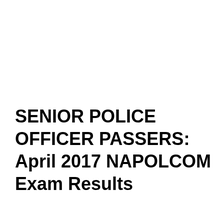SENIOR POLICE OFFICER PASSERS: April 2017 NAPOLCOM Exam Results